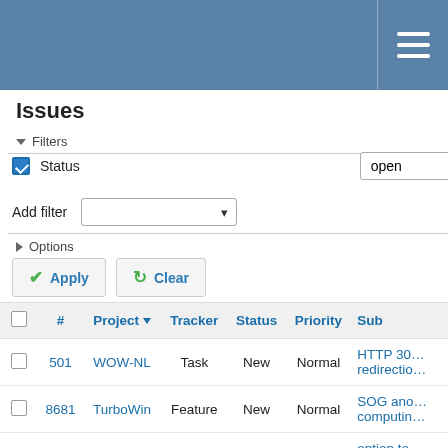≡
Issues
▾ Filters
Status  open
Add filter
▶ Options
✔ Apply   ↻ Clear
| ☐ | # | Project ▾ | Tracker | Status | Priority | Sub… |
| --- | --- | --- | --- | --- | --- | --- |
| ☐ | 501 | WOW-NL | Task | New | Normal | HTTP 30… redirectio… |
| ☐ | 8681 | TurboWin | Feature | New | Normal | SOG and… computin… |
| ☐ | 8671 | TurboWin | Feature | New | Normal | option to… Relative Humidity |